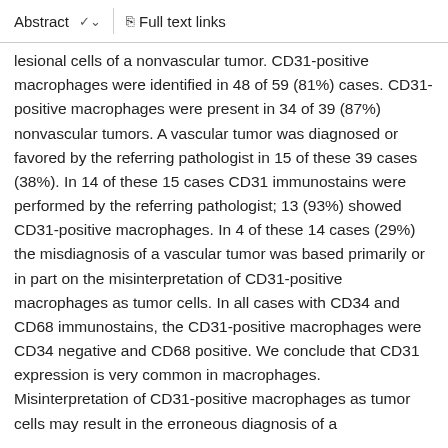Abstract  ∨    Full text links
lesional cells of a nonvascular tumor. CD31-positive macrophages were identified in 48 of 59 (81%) cases. CD31-positive macrophages were present in 34 of 39 (87%) nonvascular tumors. A vascular tumor was diagnosed or favored by the referring pathologist in 15 of these 39 cases (38%). In 14 of these 15 cases CD31 immunostains were performed by the referring pathologist; 13 (93%) showed CD31-positive macrophages. In 4 of these 14 cases (29%) the misdiagnosis of a vascular tumor was based primarily or in part on the misinterpretation of CD31-positive macrophages as tumor cells. In all cases with CD34 and CD68 immunostains, the CD31-positive macrophages were CD34 negative and CD68 positive. We conclude that CD31 expression is very common in macrophages. Misinterpretation of CD31-positive macrophages as tumor cells may result in the erroneous diagnosis of a